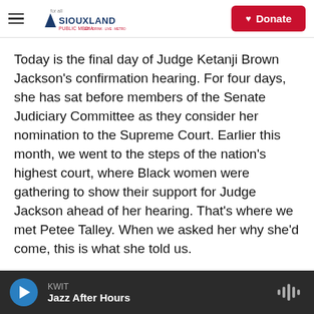Siouxland Public Media — Donate
Today is the final day of Judge Ketanji Brown Jackson's confirmation hearing. For four days, she has sat before members of the Senate Judiciary Committee as they consider her nomination to the Supreme Court. Earlier this month, we went to the steps of the nation's highest court, where Black women were gathering to show their support for Judge Jackson ahead of her hearing. That's where we met Petee Talley. When we asked her why she'd come, this is what she told us.
PETEE TALLEY: Because we know those hearings
KWIT — Jazz After Hours